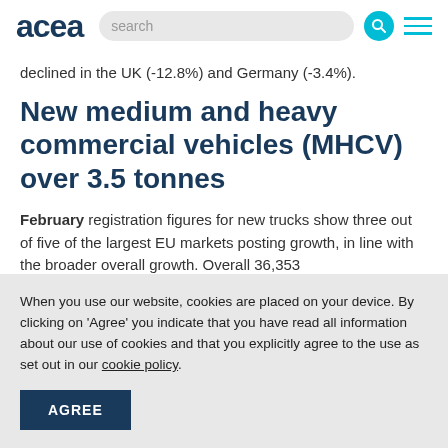acea
declined in the UK (-12.8%) and Germany (-3.4%).
New medium and heavy commercial vehicles (MHCV) over 3.5 tonnes
February registration figures for new trucks show three out of five of the largest EU markets posting growth, in line with the broader...
When you use our website, cookies are placed on your device. By clicking on 'Agree' you indicate that you have read all information about our use of cookies and that you explicitly agree to the use as set out in our cookie policy.
AGREE